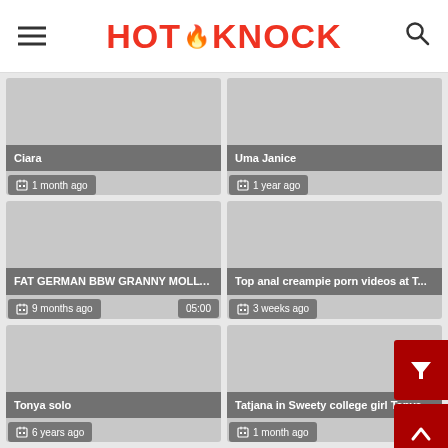HOT KNOCK
Ciara
1 month ago
Uma Janice
1 year ago
FAT GERMAN BBW GRANNY MOLLY FUCK...
9 months ago
05:00
Top anal creampie porn videos at T...
3 weeks ago
Tonya solo
6 years ago
Tatjana in Sweety college girl Tanya s...
1 month ago